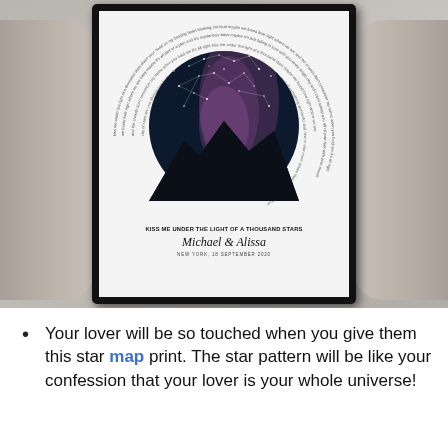[Figure (photo): A person holding a framed star map print with circular song lyrics around a night sky photo. The print reads 'KISS ME UNDER THE LIGHT OF A THOUSAND STARS', 'Michael & Alissa', 'NEW YORK, 18 SEPTEMBER 2020'.]
Your lover will be so touched when you give them this star map print. The star pattern will be like your confession that your lover is your whole universe!